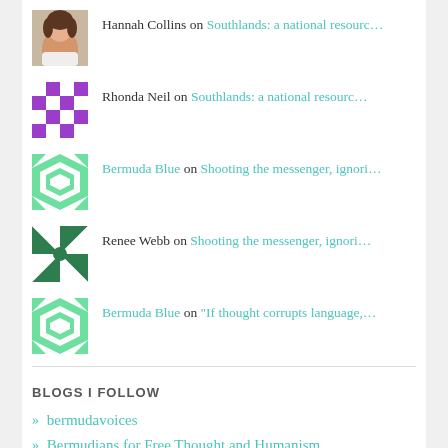Hannah Collins on Southlands: a national resourc…
Rhonda Neil on Southlands: a national resourc…
Bermuda Blue on Shooting the messenger, ignori…
Renee Webb on Shooting the messenger, ignori…
Bermuda Blue on "If thought corrupts language,…
BLOGS I FOLLOW
» bermudavoices
» Bermudians for Free Thought and Humanism
» pinkbikepinksand